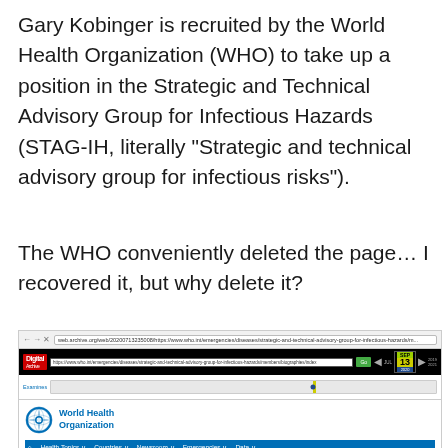Gary Kobinger is recruited by the World Health Organization (WHO) to take up a position in the Strategic and Technical Advisory Group for Infectious Hazards (STAG-IH, literally “Strategic and technical advisory group for infectious risks”).
The WHO conveniently deleted the page… I recovered it, but why delete it?
[Figure (screenshot): Screenshot of a web.archive.org Wayback Machine page showing a cached WHO page about Members of the Strategic and Technical Advisory Group for Infectious Hazards (STAG-IH), with the WHO navigation bar visible including Health Topics, Countries, Newsroom, Emergencies, Data menus, and a breadcrumb showing Emergencies. The archived date shown is July 13, 2020.]